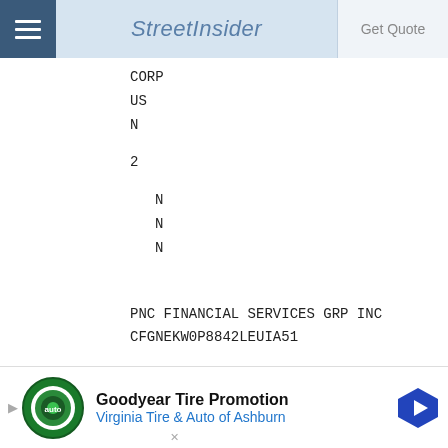StreetInsider
CORP
US
N
2
N
N
N
PNC FINANCIAL SERVICES GRP INC
CFGNEKW0P8842LEUIA51
693475105
136372.00000000
NS
[Figure (other): Advertisement banner: Goodyear Tire Promotion - Virginia Tire & Auto of Ashburn]